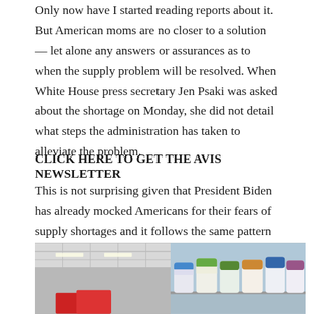Only now have I started reading reports about it. But American moms are no closer to a solution — let alone any answers or assurances as to when the supply problem will be resolved. When White House press secretary Jen Psaki was asked about the shortage on Monday, she did not detail what steps the administration has taken to alleviate the problem.
CLICK HERE TO GET THE AVIS NEWSLETTER
This is not surprising given that President Biden has already mocked Americans for their fears of supply shortages and it follows the same pattern we have seen time and time again from this administration: ignoring the problem , pretend it's exaggerated, deflect blame, and offer no answers or assurances.
[Figure (photo): Photo of a store interior with ceiling tiles on the left and shelves stocked with canned/bottled products on the right]